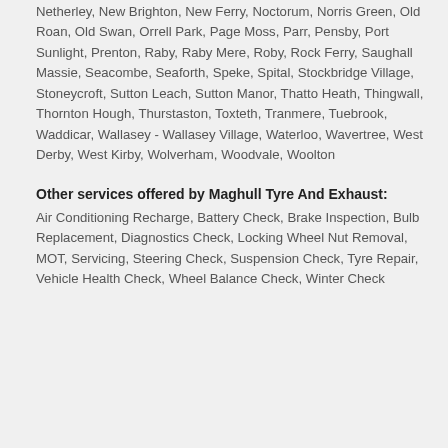Netherley, New Brighton, New Ferry, Noctorum, Norris Green, Old Roan, Old Swan, Orrell Park, Page Moss, Parr, Pensby, Port Sunlight, Prenton, Raby, Raby Mere, Roby, Rock Ferry, Saughall Massie, Seacombe, Seaforth, Speke, Spital, Stockbridge Village, Stoneycroft, Sutton Leach, Sutton Manor, Thatto Heath, Thingwall, Thornton Hough, Thurstaston, Toxteth, Tranmere, Tuebrook, Waddicar, Wallasey - Wallasey Village, Waterloo, Wavertree, West Derby, West Kirby, Wolverham, Woodvale, Woolton
Other services offered by Maghull Tyre And Exhaust:
Air Conditioning Recharge, Battery Check, Brake Inspection, Bulb Replacement, Diagnostics Check, Locking Wheel Nut Removal, MOT, Servicing, Steering Check, Suspension Check, Tyre Repair, Vehicle Health Check, Wheel Balance Check, Winter Check